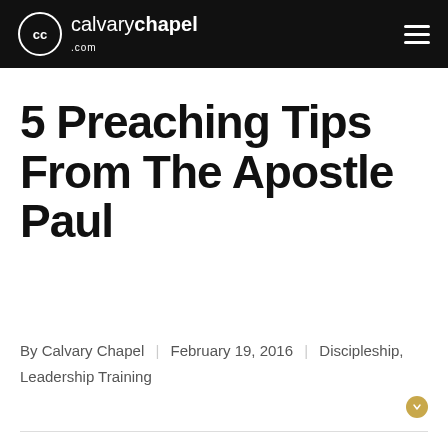calvarychapel.com
5 Preaching Tips From The Apostle Paul
By Calvary Chapel | February 19, 2016 | Discipleship, Leadership Training